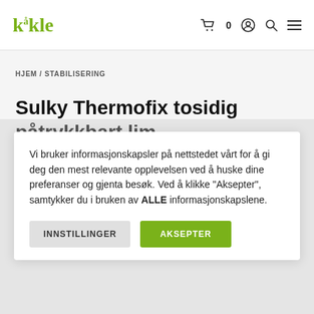Kåkle — navigation header with logo and icons (cart 0, account, search, menu)
HJEM / STABILISERING
Sulky Thermofix tosidig påtrykkbart lim
Vi bruker informasjonskapsler på nettstedet vårt for å gi deg den mest relevante opplevelsen ved å huske dine preferanser og gjenta besøk. Ved å klikke "Aksepter", samtykker du i bruken av ALLE informasjonskapslene.
INNSTILLINGER  AKSEPTER